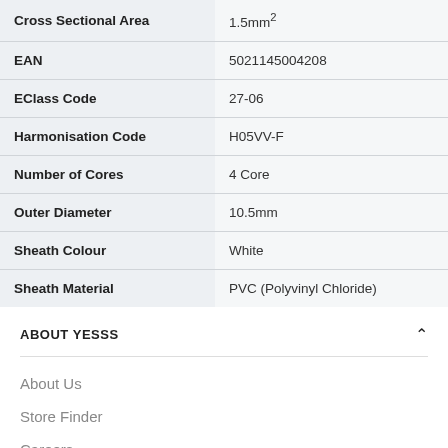| Property | Value |
| --- | --- |
| Cross Sectional Area | 1.5mm² |
| EAN | 5021145004208 |
| EClass Code | 27-06 |
| Harmonisation Code | H05VV-F |
| Number of Cores | 4 Core |
| Outer Diameter | 10.5mm |
| Sheath Colour | White |
| Sheath Material | PVC (Polyvinyl Chloride) |
ABOUT YESSS
About Us
Store Finder
Careers
YESSS Industrial